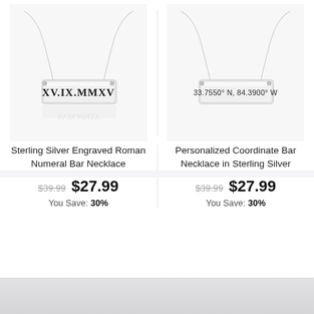[Figure (photo): Sterling silver bar necklace engraved with XV.IX.MMXV in Roman numerals, shown on a light gray background with chain visible and slight reflection below]
Sterling Silver Engraved Roman Numeral Bar Necklace
$39.99  $27.99  You Save: 30%
[Figure (photo): Personalized coordinate bar necklace in sterling silver engraved with 33.7550° N, 84.3900° W, shown on a light gray background with chain visible]
Personalized Coordinate Bar Necklace in Sterling Silver
$39.99  $27.99  You Save: 30%